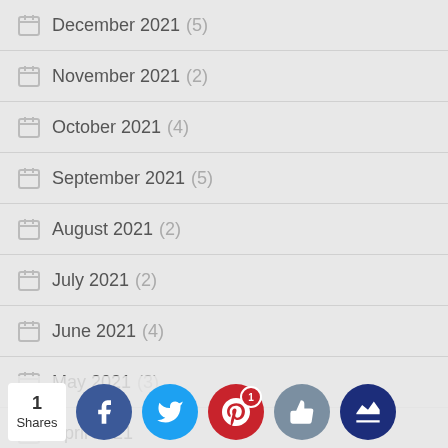December 2021 (5)
November 2021 (2)
October 2021 (4)
September 2021 (5)
August 2021 (2)
July 2021 (2)
June 2021 (4)
May 2021 (3)
April 2021
March 2021